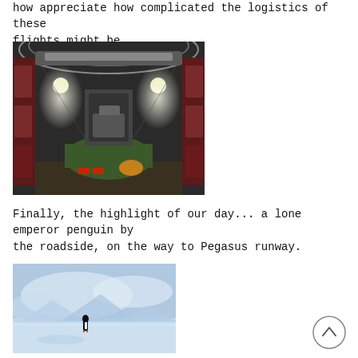how appreciate how complicated the logistics of these flights might be..
[Figure (photo): Interior of a military cargo aircraft loaded with vehicles and equipment, illuminated by overhead lights.]
Finally, the highlight of our day... a lone emperor penguin by the roadside, on the way to Pegasus runway.
[Figure (photo): Outdoor scene with a blue sky, ice, and what appears to be an emperor penguin by the roadside near Pegasus runway in Antarctica.]